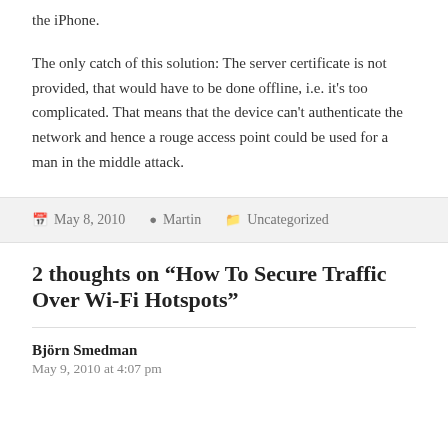the iPhone.
The only catch of this solution: The server certificate is not provided, that would have to be done offline, i.e. it's too complicated. That means that the device can't authenticate the network and hence a rouge access point could be used for a man in the middle attack.
May 8, 2010   Martin   Uncategorized
2 thoughts on “How To Secure Traffic Over Wi-Fi Hotspots”
Björn Smedman
May 9, 2010 at 4:07 pm